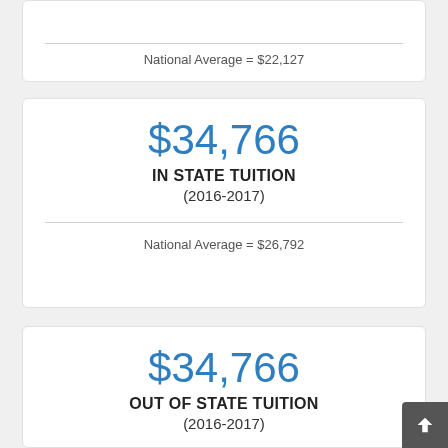National Average = $22,127
$34,766 IN STATE TUITION (2016-2017)
National Average = $26,792
$34,766 OUT OF STATE TUITION (2016-2017)